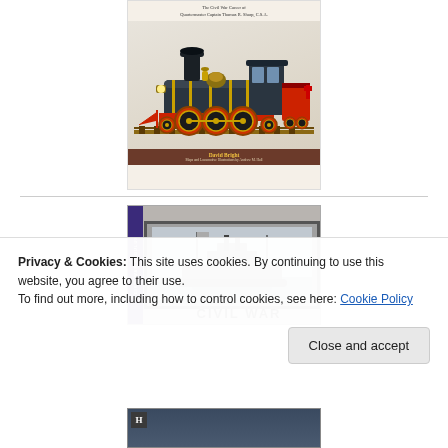[Figure (illustration): Book cover showing a detailed illustration of a steam locomotive (Civil War era) on a cream/off-white background. Title text at top reads 'The Civil War Career of Quartermaster Captain Thomas R. Sharp, C.S.A.' Bottom has a brown bar with author name 'David Bright' and 'Maps and Locomotive Illustrations by Andrew M. Hall' in gold/tan text.]
[Figure (photo): Book cover for a Civil War Regulus book showing a black and white historical photograph of a steamship/naval vessel. The spine on the left side is dark purple/navy with 'Civil War Regulus' text. Large bold text 'CIVIL WAR' visible at bottom of cover.]
Privacy & Cookies: This site uses cookies. By continuing to use this website, you agree to their use.
To find out more, including how to control cookies, see here: Cookie Policy
[Figure (photo): Partial book cover visible at bottom showing a dark blue/mountain landscape scene with an 'H' badge marker on the left side.]